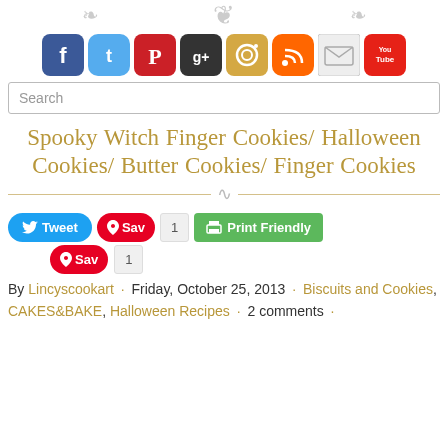[Figure (infographic): Social media icons row: Facebook, Twitter, Pinterest, Google+, Instagram, RSS, Email, YouTube]
Search
Spooky Witch Finger Cookies/ Halloween Cookies/ Butter Cookies/ Finger Cookies
[Figure (infographic): Tweet button, Pinterest Save button with count 1, Print Friendly button]
[Figure (infographic): Pinterest Save button with count 1]
By Lincyscookart · Friday, October 25, 2013 · Biscuits and Cookies, CAKES&BAKE, Halloween Recipes · 2 comments ·